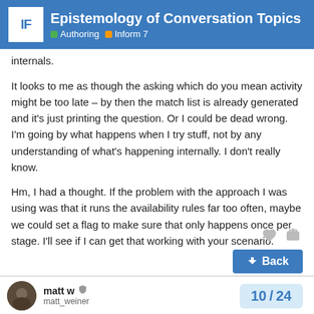Epistemology of Conversation Topics — Authoring | Inform 7
internals.
It looks to me as though the asking which do you mean activity might be too late – by then the match list is already generated and it's just printing the question. Or I could be dead wrong. I'm going by what happens when I try stuff, not by any understanding of what's happening internally. I don't really know.
Hm, I had a thought. If the problem with the approach I was using was that it runs the availability rules far too often, maybe we could set a flag to make sure that only happens once per stage. I'll see if I can get that working with your scenario.
matt w — matt_weiner
10 / 24